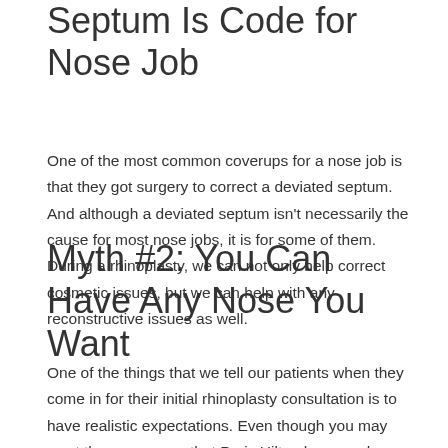Septum Is Code for Nose Job
One of the most common coverups for a nose job is that they got surgery to correct a deviated septum. And although a deviated septum isn't necessarily the cause for most nose jobs, it is for some of them. During a rhinoplasty, we can not only help correct cosmetic issues, but we can help with any reconstructive issues as well.
Myth #2: You Can Have Any Nose You Want
One of the things that we tell our patients when they come in for their initial rhinoplasty consultation is to have realistic expectations. Even though you may want the same nose that Paris Hilton has, you have to remember that your bone structure and facial structure are different— which means,